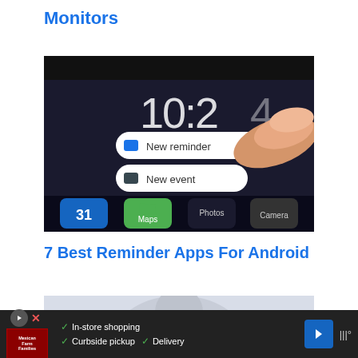Monitors
[Figure (photo): A finger touching an Android phone screen showing a context menu with 'New reminder' and 'New event' options over a home screen with app icons including Google Maps, Calendar, Camera, Photos]
7 Best Reminder Apps For Android
[Figure (photo): Partial photo of a person, blurred background, bottom portion cut off]
[Figure (other): Advertisement bar: Mexican Farm Families logo with play button, checkmarks for In-store shopping, Curbside pickup, Delivery, blue arrow navigation icon, weather widget showing degrees symbol]